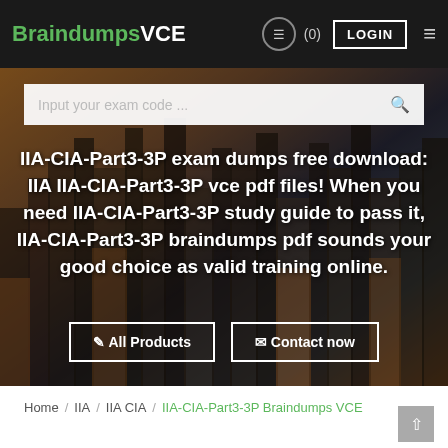BraindumpsVCE LOGIN
Input your exam code ...
IIA-CIA-Part3-3P exam dumps free download: IIA IIA-CIA-Part3-3P vce pdf files! When you need IIA-CIA-Part3-3P study guide to pass it, IIA-CIA-Part3-3P braindumps pdf sounds your good choice as valid training online.
All Products
Contact now
Home / IIA / IIA CIA / IIA-CIA-Part3-3P Braindumps VCE